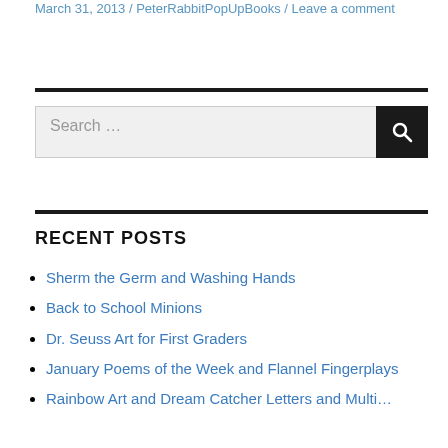March 31, 2013 / PeterRabbitPopUpBooks / Leave a comment
[Figure (other): Horizontal divider line]
Search ...
[Figure (other): Horizontal divider line]
RECENT POSTS
Sherm the Germ and Washing Hands
Back to School Minions
Dr. Seuss Art for First Graders
January Poems of the Week and Flannel Fingerplays
Rainbow Art and Dream Catcher Letters and Multi...